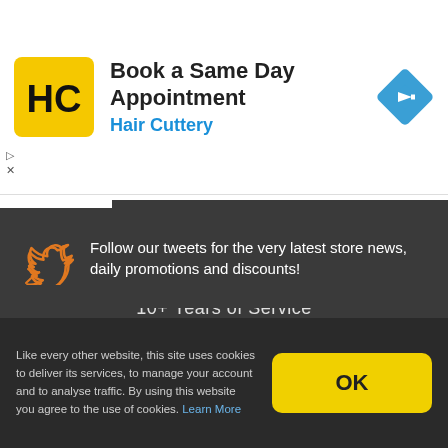[Figure (logo): Hair Cuttery HC logo — yellow square with black HC letters]
Book a Same Day Appointment
Hair Cuttery
[Figure (illustration): Blue diamond navigation/map arrow icon]
[Figure (illustration): Orange badge checkmark seal icon — 10+ Years of Service]
10+ Years of Service
[Figure (illustration): Orange Twitter bird icon]
Follow our tweets for the very latest store news, daily promotions and discounts!
Like every other website, this site uses cookies to deliver its services, to manage your account and to analyse traffic. By using this website you agree to the use of cookies. Learn More